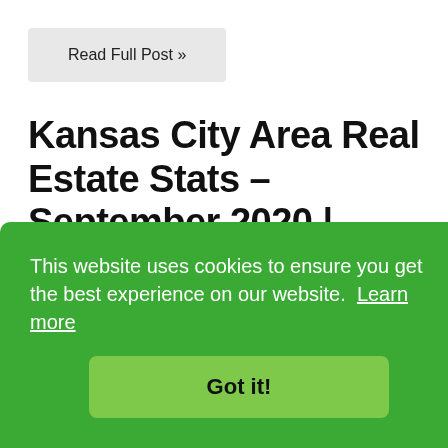Read Full Post »
Kansas City Area Real Estate Stats - September 2020 | Kansas City Homes
Tuesday, October 13th, 2020 at 2:35pm.
This website uses cookies to ensure you get the best experience on our website.  Learn more
Got it!